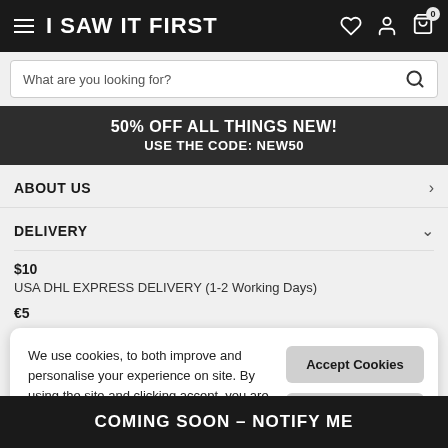I SAW IT FIRST
What are you looking for?
50% OFF ALL THINGS NEW! USE THE CODE: NEW50
ABOUT US
DELIVERY
$10
USA DHL EXPRESS DELIVERY (1-2 Working Days)
€5
We use cookies, to both improve and personalise your experience on site. By using the site and clicking accept, you are consenting to the use of cookies.
Accept Cookies
Learn More...
COMING SOON – NOTIFY ME